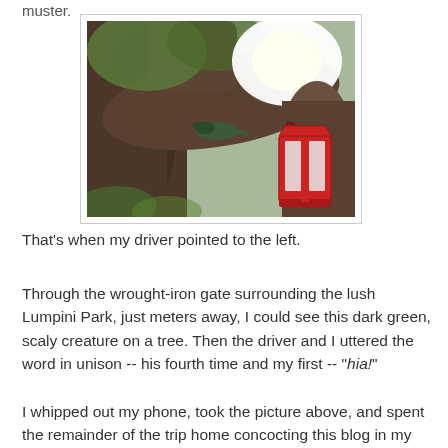muster.
[Figure (photo): A large tree trunk with thick branches, a squirrel or lizard resting on a branch, and a red ornate street lantern hanging in the right portion of the image. Bright light visible in the background, with green foliage.]
That's when my driver pointed to the left.
Through the wrought-iron gate surrounding the lush Lumpini Park, just meters away, I could see this dark green, scaly creature on a tree. Then the driver and I uttered the word in unison -- his fourth time and my first -- "hia!"
I whipped out my phone, took the picture above, and spent the remainder of the trip home concocting this blog in my